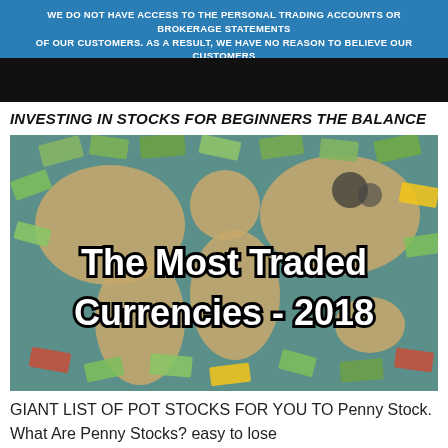WE DO NOT HAVE ACCESS TO THE PERSONAL TRADING ACCOUNTS OR BROKERAGE STATEMENTS OF OUR CUSTOMERS. AS A RESULT, WE HAVE NO REASON TO BELIEVE OUR CUSTOMERS PERFORM BETTER OR WORSE THAN TRADERS AS A WHOLE.
INVESTING IN STOCKS FOR BEGINNERS THE BALANCE
[Figure (photo): Photo of a world map covered with various foreign currency banknotes, with large bold white text overlaid reading 'The Most Traded Currencies - 2018']
GIANT LIST OF POT STOCKS FOR YOU TO Penny Stock. What Are Penny Stocks? easy to lose